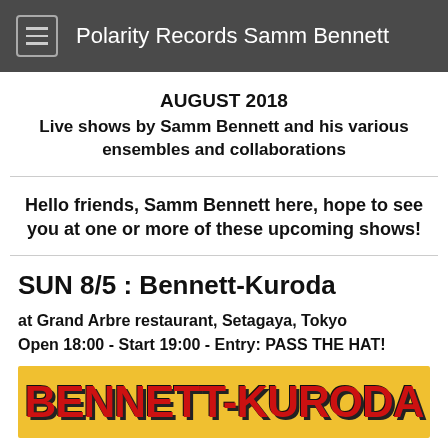Polarity Records Samm Bennett
AUGUST 2018
Live shows by Samm Bennett and his various ensembles and collaborations
Hello friends, Samm Bennett here, hope to see you at one or more of these upcoming shows!
SUN 8/5 : Bennett-Kuroda
at Grand Arbre restaurant, Setagaya, Tokyo
Open 18:00 - Start 19:00 - Entry: PASS THE HAT!
[Figure (illustration): Banner image with yellow background showing 'BENNETT-KURODA' in large red bold letters with dark shadow effect]